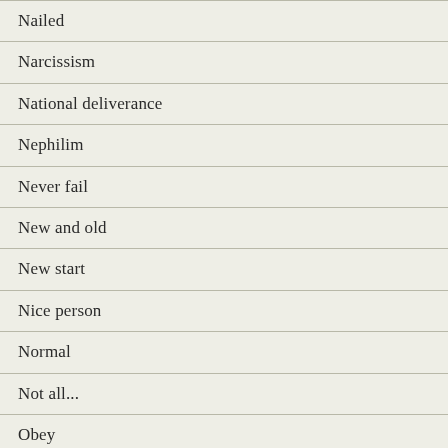Nailed
Narcissism
National deliverance
Nephilim
Never fail
New and old
New start
Nice person
Normal
Not all...
Obey
Offering